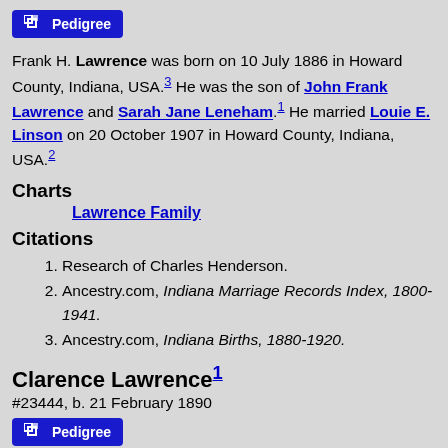[Figure (other): Pedigree button (blue button with pedigree icon and text 'Pedigree')]
Frank H. Lawrence was born on 10 July 1886 in Howard County, Indiana, USA.3 He was the son of John Frank Lawrence and Sarah Jane Leneham.1 He married Louie E. Linson on 20 October 1907 in Howard County, Indiana, USA.2
Charts
Lawrence Family
Citations
1. Research of Charles Henderson.
2. Ancestry.com, Indiana Marriage Records Index, 1800-1941.
3. Ancestry.com, Indiana Births, 1880-1920.
Clarence Lawrence1
#23444, b. 21 February 1890
[Figure (other): Pedigree button (blue button with pedigree icon and text 'Pedigree')]
Clarence Lawrence was born on 21 February 1890 in Howard County, Indiana, USA.2 He was the son of John Frank Lawrence and Sarah Jane Leneham.1 He married